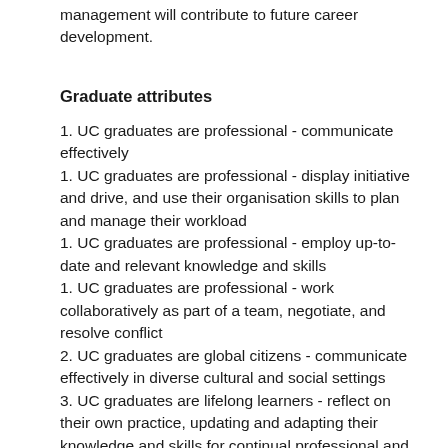management will contribute to future career development.
Graduate attributes
1. UC graduates are professional - communicate effectively
1. UC graduates are professional - display initiative and drive, and use their organisation skills to plan and manage their workload
1. UC graduates are professional - employ up-to-date and relevant knowledge and skills
1. UC graduates are professional - work collaboratively as part of a team, negotiate, and resolve conflict
2. UC graduates are global citizens - communicate effectively in diverse cultural and social settings
3. UC graduates are lifelong learners - reflect on their own practice, updating and adapting their knowledge and skills for continual professional and academic development